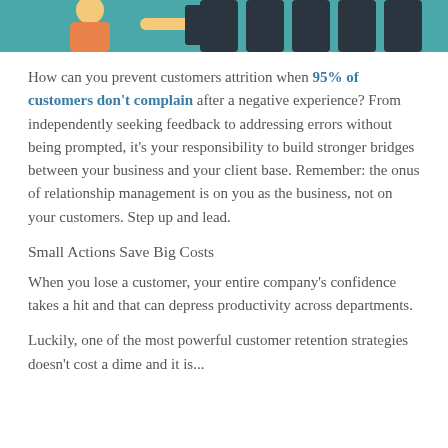[Figure (illustration): Partial illustration/banner image showing a teal/turquoise background with illustrated figures, partially cropped at top of page.]
How can you prevent customers attrition when 95% of customers don't complain after a negative experience? From independently seeking feedback to addressing errors without being prompted, it's your responsibility to build stronger bridges between your business and your client base. Remember: the onus of relationship management is on you as the business, not on your customers. Step up and lead.
Small Actions Save Big Costs
When you lose a customer, your entire company's confidence takes a hit and that can depress productivity across departments.
Luckily, one of the most powerful customer retention strategies doesn't cost a dime and it is...